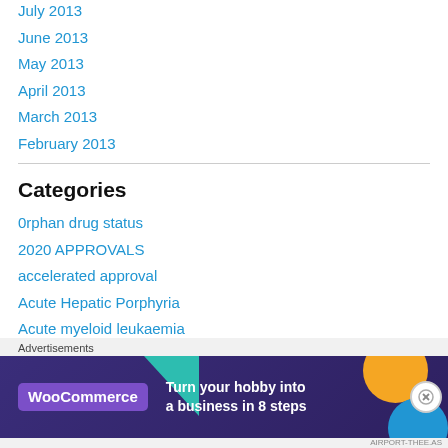July 2013
June 2013
May 2013
April 2013
March 2013
February 2013
Categories
0rphan drug status
2020 APPROVALS
accelerated approval
Acute Hepatic Porphyria
Acute myeloid leukaemia
African medicine
[Figure (other): WooCommerce advertisement banner: Turn your hobby into a business in 8 steps]